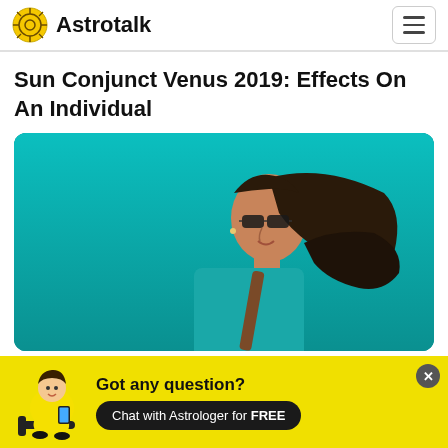Astrotalk
Sun Conjunct Venus 2019: Effects On An Individual
[Figure (photo): Woman with sunglasses and flowing dark hair against a teal/turquoise background, wearing a teal top with a brown bag strap]
Got any question? Chat with Astrologer for FREE